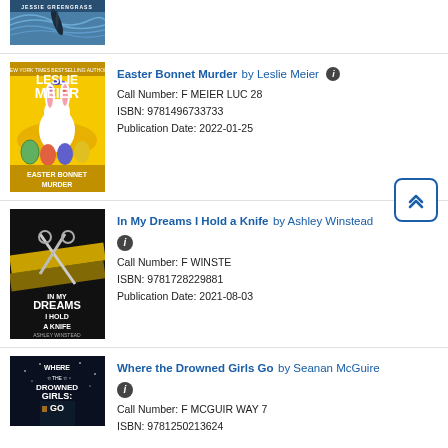[Figure (photo): Partial book cover visible at top - appears to show a blue swirling background with a dark feather or leaf, author name Jessie Greengrass at top]
[Figure (photo): Book cover: Easter Bonnet Murder by Leslie Meier - yellow background with white Easter bunny and colorful eggs]
Easter Bonnet Murder by Leslie Meier
Call Number: F MEIER LUC 28
ISBN: 9781496733733
Publication Date: 2022-01-25
[Figure (photo): Book cover: In My Dreams I Hold a Knife by Ashley Winstead - dark cover with scissors and gold ribbon]
In My Dreams I Hold a Knife by Ashley Winstead
Call Number: F WINSTE
ISBN: 9781728229881
Publication Date: 2021-08-03
[Figure (photo): Book cover: Where the Drowned Girls Go by Seanan McGuire - dark blue/black cover with title text]
Where the Drowned Girls Go by Seanan McGuire
Call Number: F MCGUIR WAY 7
ISBN: 9781250213624